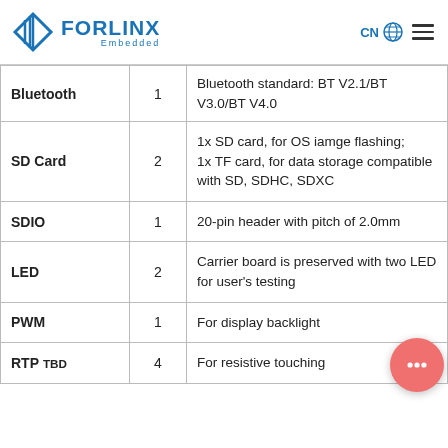FORLINX Embedded
| Interface | Qty | Description |
| --- | --- | --- |
| Bluetooth | 1 | Bluetooth standard: BT V2.1/BT V3.0/BT V4.0 |
| SD Card | 2 | 1x SD card, for OS iamge flashing; 1x TF card, for data storage compatible with SD, SDHC, SDXC |
| SDIO | 1 | 20-pin header with pitch of 2.0mm |
| LED | 2 | Carrier board is preserved with two LED for user's testing |
| PWM | 1 | For display backlight |
| RTP TBD | 4 | For resistive touching |